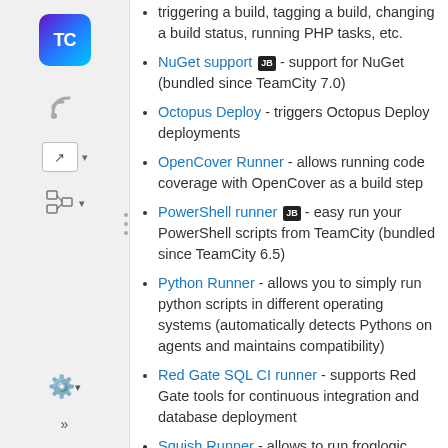triggering a build, tagging a build, changing a build status, running PHP tasks, etc.
NuGet support [JB] - support for NuGet (bundled since TeamCity 7.0)
Octopus Deploy - triggers Octopus Deploy deployments
OpenCover Runner - allows running code coverage with OpenCover as a build step
PowerShell runner [JB] - easy run your PowerShell scripts from TeamCity (bundled since TeamCity 6.5)
Python Runner - allows you to simply run python scripts in different operating systems (automatically detects Pythons on agents and maintains compatibility)
Red Gate SQL CI runner - supports Red Gate tools for continuous integration and database deployment
Squish Runner - allows to run froglogic Squish GUI Tester tests from TeamCity
StyleCop runner
TeamCity.Node - provides Node.js, NPM, NVM and PhantomJS runners